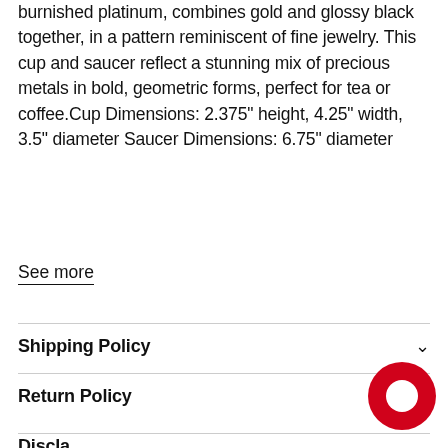burnished platinum, combines gold and glossy black together, in a pattern reminiscent of fine jewelry. This cup and saucer reflect a stunning mix of precious metals in bold, geometric forms, perfect for tea or coffee.Cup Dimensions: 2.375" height, 4.25" width, 3.5" diameter Saucer Dimensions: 6.75" diameter
See more
Shipping Policy
Return Policy
Discla...